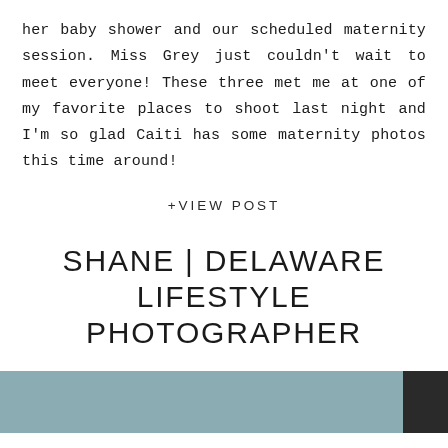her baby shower and our scheduled maternity session. Miss Grey just couldn't wait to meet everyone! These three met me at one of my favorite places to shoot last night and I'm so glad Caiti has some maternity photos this time around!
+VIEW POST
SHANE | DELAWARE LIFESTYLE PHOTOGRAPHER
[Figure (photo): Bottom strip showing a partial photograph, predominantly teal/blue-grey tones with a dark section on the right edge.]